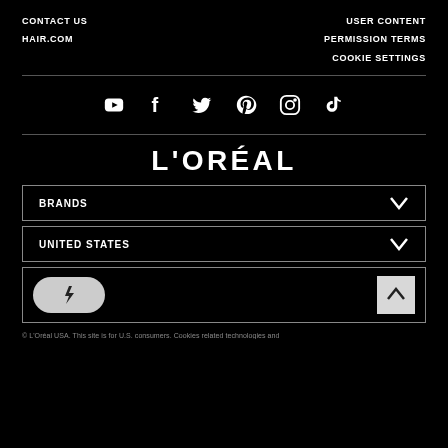CONTACT US
HAIR.COM
USER CONTENT PERMISSION TERMS
COOKIE SETTINGS
[Figure (infographic): Social media icons row: YouTube, Facebook, Twitter, Pinterest, Instagram, TikTok]
L'ORÉAL
BRANDS
UNITED STATES
[Figure (infographic): Power/lightning button toggle and scroll-to-top arrow button]
© L'Oréal USA. This site is for U.S. consumers. Cookies related technologies and